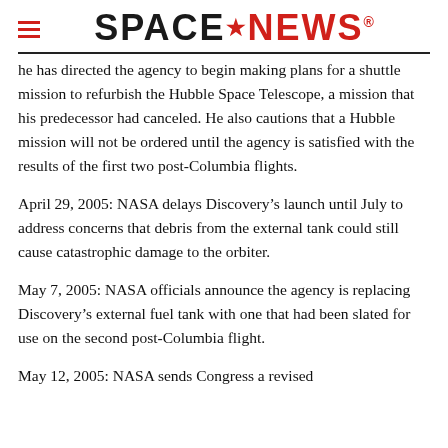SPACENEWS
he has directed the agency to begin making plans for a shuttle mission to refurbish the Hubble Space Telescope, a mission that his predecessor had canceled. He also cautions that a Hubble mission will not be ordered until the agency is satisfied with the results of the first two post-Columbia flights.
April 29, 2005: NASA delays Discovery’s launch until July to address concerns that debris from the external tank could still cause catastrophic damage to the orbiter.
May 7, 2005: NASA officials announce the agency is replacing Discovery’s external fuel tank with one that had been slated for use on the second post-Columbia flight.
May 12, 2005: NASA sends Congress a revised